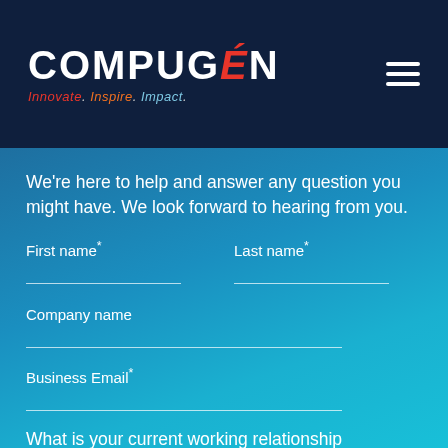COMPUGÉN — Innovate. Inspire. Impact.
We're here to help and answer any question you might have. We look forward to hearing from you.
First name*
Last name*
Company name
Business Email*
What is your current working relationship